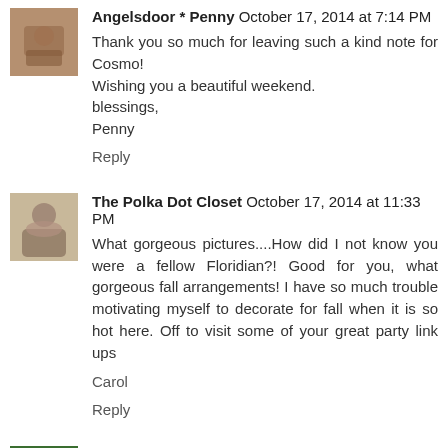Angelsdoor * Penny October 17, 2014 at 7:14 PM
Thank you so much for leaving such a kind note for Cosmo! Wishing you a beautiful weekend.
blessings,
Penny
Reply
The Polka Dot Closet October 17, 2014 at 11:33 PM
What gorgeous pictures....How did I not know you were a fellow Floridian?! Good for you, what gorgeous fall arrangements! I have so much trouble motivating myself to decorate for fall when it is so hot here. Off to visit some of your great party link ups

Carol
Reply
Marigene October 18, 2014 at 10:20 AM
Thank you for inviting me to be part of What's...